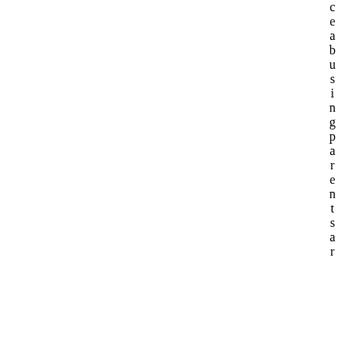c e a b u s i n g p a r e n t s a r